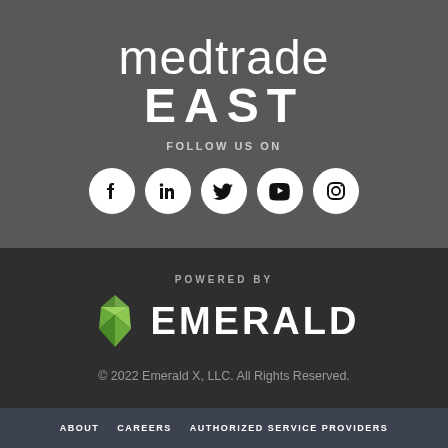[Figure (logo): Medtrade East logo with text 'medtrade EAST']
FOLLOW US ON
[Figure (infographic): Five social media icons in white circles: Facebook, LinkedIn, Twitter, YouTube, Instagram]
POWERED BY
[Figure (logo): Emerald logo: green diamond gem icon followed by EMERALD text in white]
© 2022 Emerald X, LLC. All Rights Reserved.
ABOUT   CAREERS   AUTHORIZED SERVICE PROVIDERS